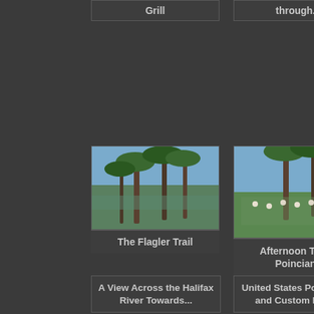Grill
through...
[Figure (photo): Vintage postcard photo of The Flagler Trail with palm trees and a waterway]
The Flagler Trail
[Figure (photo): Vintage postcard photo of Afternoon Tea at Poinciana with people on a lawn among palm trees]
Afternoon Tea at Poinciana
The Roy...
A View Across the Halifax River Towards...
United States Post Office and Custom House
[Figure (photo): Partial view of a lush green landscape photo]
A View